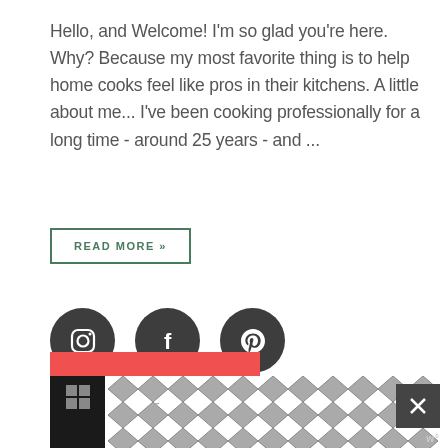Hello, and Welcome! I'm so glad you're here. Why? Because my most favorite thing is to help home cooks feel like pros in their kitchens. A little about me... I've been cooking professionally for a long time - around 25 years - and ...
READ MORE »
[Figure (other): Three dark circular social media icons: Instagram, Facebook, and Pinterest]
[Figure (other): Bottom bar with dark background, red block, chevron pattern, close button with X, and wm logo]